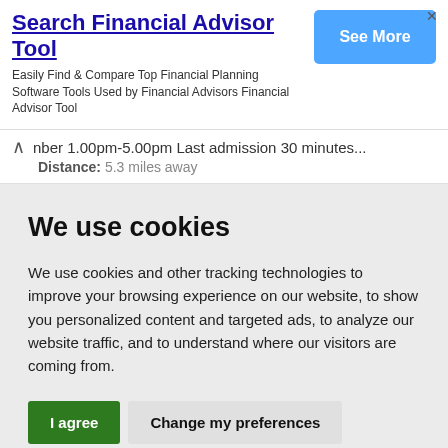[Figure (other): Advertisement banner with 'Search Financial Advisor Tool' heading, description text, and a blue 'See More' button. Ad attribution icons (triangle and X) in top right.]
nber 1.00pm-5.00pm Last admission 30 minutes...
Distance: 5.3 miles away
We use cookies
We use cookies and other tracking technologies to improve your browsing experience on our website, to show you personalized content and targeted ads, to analyze our website traffic, and to understand where our visitors are coming from.
I agree
Change my preferences